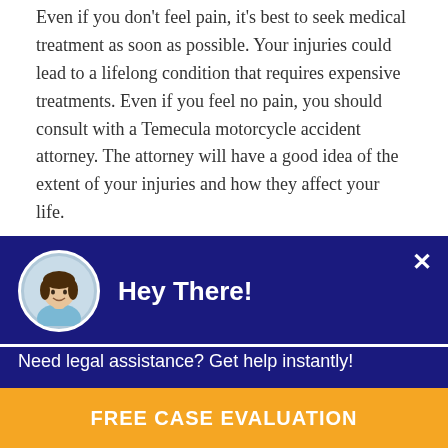Even if you don't feel pain, it's best to seek medical treatment as soon as possible. Your injuries could lead to a lifelong condition that requires expensive treatments. Even if you feel no pain, you should consult with a Temecula motorcycle accident attorney. The attorney will have a good idea of the extent of your injuries and how they affect your life.
Your motorcycle accident attorney in Temecula will also fight to maximize the compensation you receive. If you're unable to work because of your injuries, the insurance company will likely pay for the medical bills and will not pay for future
[Figure (other): Chat popup widget with dark blue background, circular avatar photo of a woman, bold white text 'Hey There!', close button (×), and subtext 'Need legal assistance? Get help instantly!']
FREE CASE EVALUATION